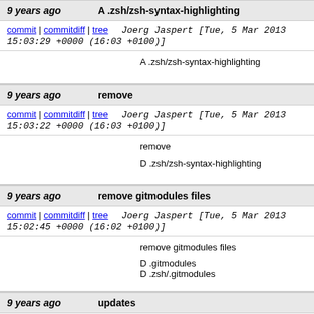9 years ago   A .zsh/zsh-syntax-highlighting
commit | commitdiff | tree   Joerg Jaspert [Tue, 5 Mar 2013 15:03:29 +0000 (16:03 +0100)]
A .zsh/zsh-syntax-highlighting
9 years ago   remove
commit | commitdiff | tree   Joerg Jaspert [Tue, 5 Mar 2013 15:03:22 +0000 (16:03 +0100)]
remove
D .zsh/zsh-syntax-highlighting
9 years ago   remove gitmodules files
commit | commitdiff | tree   Joerg Jaspert [Tue, 5 Mar 2013 15:02:45 +0000 (16:02 +0100)]
remove gitmodules files
D .gitmodules
D .zsh/.gitmodules
9 years ago   updates